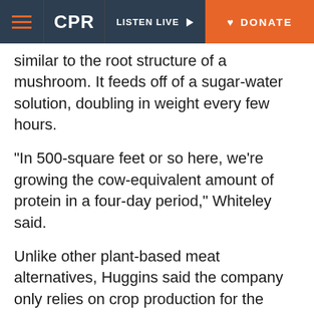CPR | LISTEN LIVE | DONATE
similar to the root structure of a mushroom. It feeds off of a sugar-water solution, doubling in weight every few hours.
“In 500-square feet or so here, we’re growing the cow-equivalent amount of protein in a four-day period,” Whiteley said.
Unlike other plant-based meat alternatives, Huggins said the company only relies on crop production for the sugar to feed the mycelium. He thinks it might even be possible to someday replace it with wastewater from the beer brewing process and the beverage industry, which often contains leftover sugars and other carbohydrates. “Fungi are very good at breaking that down,” Huggins said